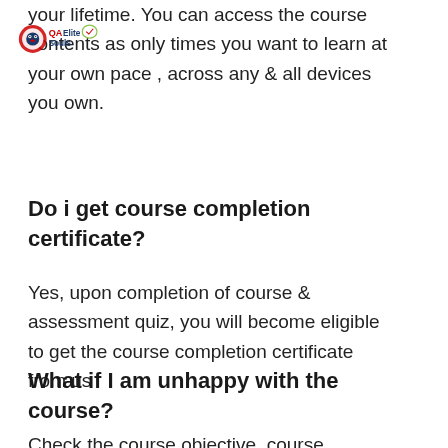[Figure (logo): QA Elite Souls logo with circular emblem on left and text on right]
your lifetime. You can access the course contents as only times you want to learn at your own pace , across any & all devices you own.
Do i get course completion certificate?
Yes, upon completion of course & assessment quiz, you will become eligible to get the course completion certificate from us
What if I am unhappy with the course?
Check the course objective, course